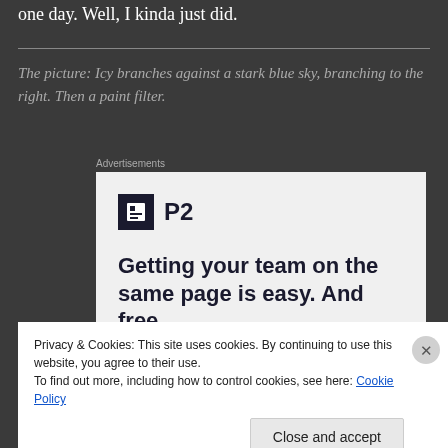one day. Well, I kinda just did.
The picture: Icy branches against a stark blue sky, branching to the right. Then a paint filter.
[Figure (screenshot): Advertisement for P2 product showing logo and headline 'Getting your team on the same page is easy. And free.']
Privacy & Cookies: This site uses cookies. By continuing to use this website, you agree to their use.
To find out more, including how to control cookies, see here: Cookie Policy